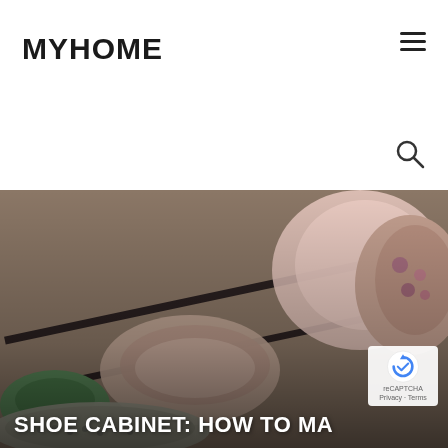MYHOME
[Figure (photo): Close-up photo of multiple pairs of shoes stored on a shoe rack, including green flats, beige flats, and floral patterned shoes, viewed from above at an angle. The image is slightly blurred/bokeh effect.]
SHOE CABINET: HOW TO MA...